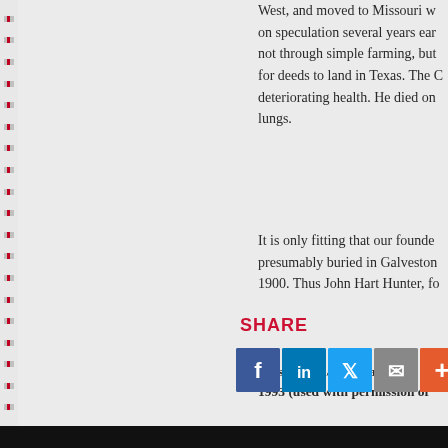West, and moved to Missouri w... on speculation several years ear... not through simple farming, but... for deeds to land in Texas. The C... deteriorating health. He died on... lungs.
It is only fitting that our founde... presumably buried in Galveston... 1900. Thus John Hart Hunter, fo...
This information was based u... 1993 (used with permission of...
SHARE
[Figure (infographic): Social sharing icons: Facebook (blue), LinkedIn (blue), Twitter (light blue), Email (grey), Plus/More (orange), Share (white/grey)]